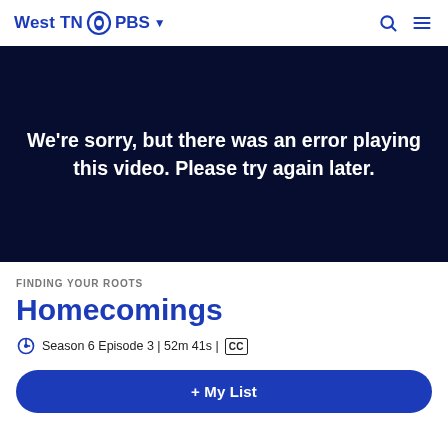West TN PBS
[Figure (screenshot): Video player error screen with dark navy background showing error message: We're sorry, but there was an error playing this video. Please try again later.]
FINDING YOUR ROOTS
Homecomings
Season 6 Episode 3 | 52m 41s | CC
+ My List